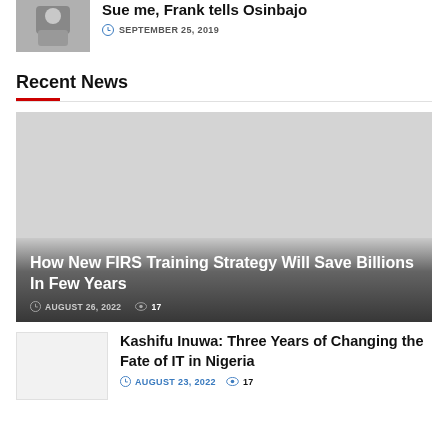[Figure (photo): Thumbnail photo of a person]
Sue me, Frank tells Osinbajo
SEPTEMBER 25, 2019
Recent News
[Figure (photo): Featured article background image – large grey placeholder]
How New FIRS Training Strategy Will Save Billions In Few Years
AUGUST 26, 2022  17
[Figure (photo): Small thumbnail placeholder for Kashifu Inuwa article]
Kashifu Inuwa: Three Years of Changing the Fate of IT in Nigeria
AUGUST 23, 2022  17